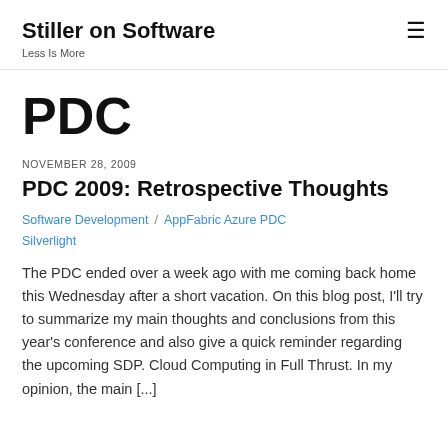Stiller on Software / Less Is More
PDC
NOVEMBER 28, 2009
PDC 2009: Retrospective Thoughts
Software Development / AppFabric Azure PDC Silverlight
The PDC ended over a week ago with me coming back home this Wednesday after a short vacation. On this blog post, I'll try to summarize my main thoughts and conclusions from this year's conference and also give a quick reminder regarding the upcoming SDP. Cloud Computing in Full Thrust. In my opinion, the main [...]